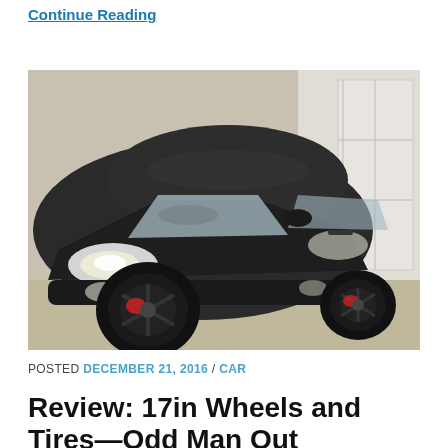Continue Reading
[Figure (photo): A dark gray/black Ford Fiesta ST hatchback parked in a garage, viewed from the front-left angle, showing black alloy wheels with red brake calipers.]
POSTED DECEMBER 21, 2016 / CAR
Review: 17in Wheels and Tires—Odd Man Out